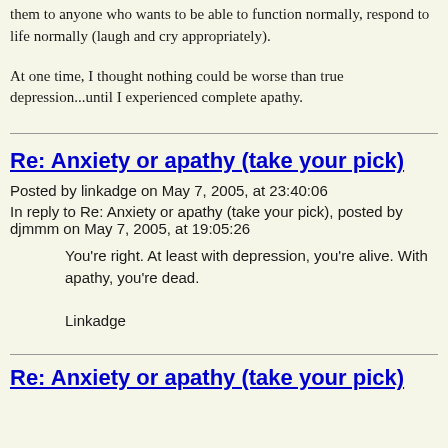them to anyone who wants to be able to function normally, respond to life normally (laugh and cry appropriately).
At one time, I thought nothing could be worse than true depression...until I experienced complete apathy.
Re: Anxiety or apathy (take your pick)
Posted by linkadge on May 7, 2005, at 23:40:06
In reply to Re: Anxiety or apathy (take your pick), posted by djmmm on May 7, 2005, at 19:05:26
You're right. At least with depression, you're alive. With apathy, you're dead.

Linkadge
Re: Anxiety or apathy (take your pick)